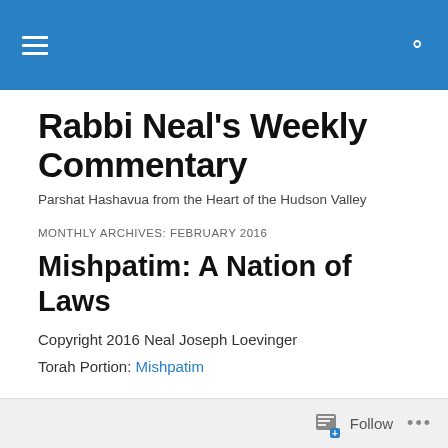Rabbi Neal's Weekly Commentary
Rabbi Neal's Weekly Commentary
Parshat Hashavua from the Heart of the Hudson Valley
MONTHLY ARCHIVES: FEBRUARY 2016
Mishpatim: A Nation of Laws
Copyright 2016 Neal Joseph Loevinger
Torah Portion: Mishpatim
Follow